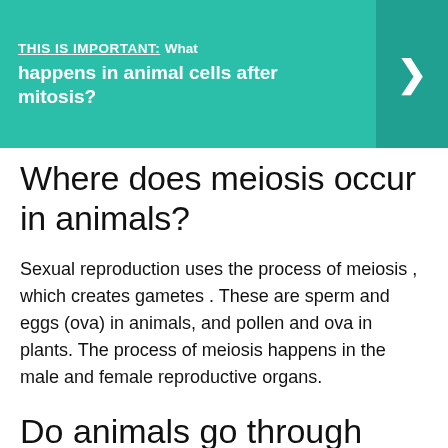THIS IS IMPORTANT: What happens in animal cells after mitosis?
Where does meiosis occur in animals?
Sexual reproduction uses the process of meiosis , which creates gametes . These are sperm and eggs (ova) in animals, and pollen and ova in plants. The process of meiosis happens in the male and female reproductive organs.
Do animals go through meiosis?
Animals spend most of their life in the diploid